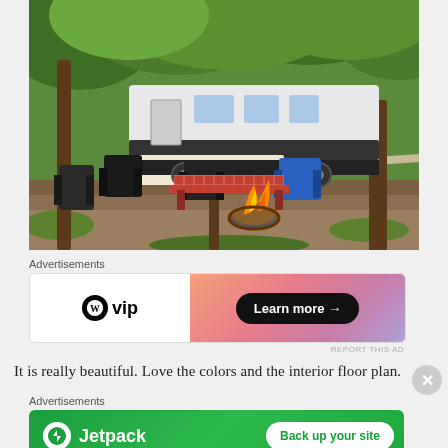[Figure (photo): Outdoor camping scene with a white travel trailer/RV parked among trees. Several camping chairs are arranged around a fire pit with active flames. A picnic table with a plaid tablecloth is visible. The setting is a wooded campground with a gravel road in the background.]
Advertisements
[Figure (other): WordPress VIP advertisement banner with white left side showing WordPress logo and 'vip' text, and orange-pink gradient right side with 'Learn more →' button in black rounded rectangle.]
REPORT THIS AD
It is really beautiful. Love the colors and the interior floor plan.
Advertisements
[Figure (other): Jetpack advertisement banner with green gradient background showing Jetpack logo (lightning bolt in white circle) and 'Jetpack' text on left, and 'Back up your site' button in white rounded rectangle on right.]
REPORT THIS AD